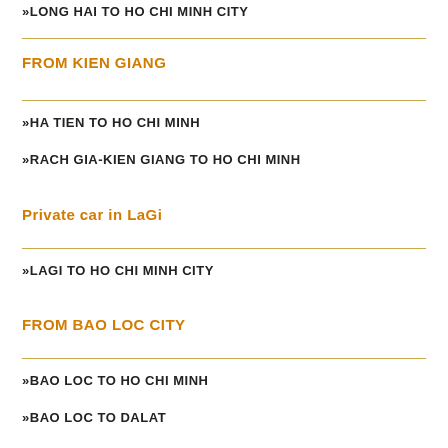LONG HAI TO HO CHI MINH CITY
FROM KIEN GIANG
HA TIEN TO HO CHI MINH
RACH GIA-KIEN GIANG TO HO CHI MINH
Private car in LaGi
LAGI TO HO CHI MINH CITY
FROM BAO LOC CITY
BAO LOC TO HO CHI MINH
BAO LOC TO DALAT